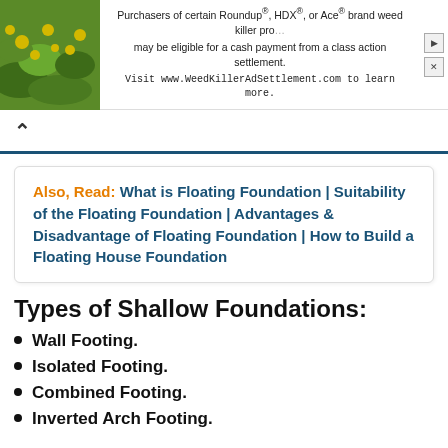[Figure (other): Advertisement banner: image of plants with yellow flowers on the left, text about Roundup/HDX/Ace brand weed killer class action settlement, with visit URL www.WeedKillerAdSettlement.com]
Also, Read: What is Floating Foundation | Suitability of the Floating Foundation | Advantages & Disadvantage of Floating Foundation | How to Build a Floating House Foundation
Types of Shallow Foundations:
Wall Footing.
Isolated Footing.
Combined Footing.
Inverted Arch Footing.